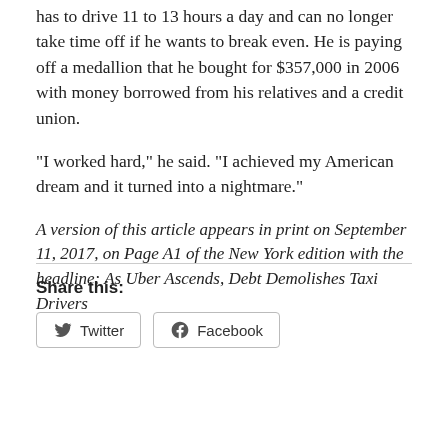has to drive 11 to 13 hours a day and can no longer take time off if he wants to break even. He is paying off a medallion that he bought for $357,000 in 2006 with money borrowed from his relatives and a credit union.
“I worked hard,” he said. “I achieved my American dream and it turned into a nightmare.”
A version of this article appears in print on September 11, 2017, on Page A1 of the New York edition with the headline: As Uber Ascends, Debt Demolishes Taxi Drivers
Share this:
Twitter   Facebook